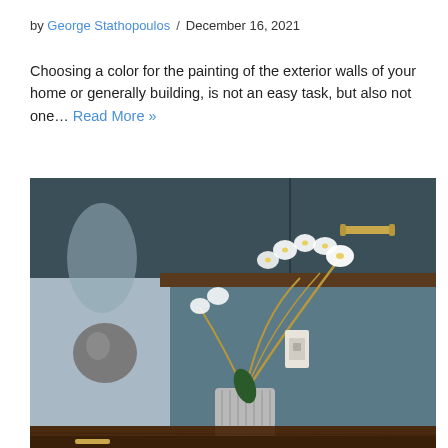by George Stathopoulos / December 16, 2021
Choosing a color for the painting of the exterior walls of your home or generally building, is not an easy task, but also not one… Read More »
[Figure (photo): Interior room photo showing dark teal/blue-grey painted cabinets with brass handles above a dark wood countertop/dresser, with a white orchid in a silver pot on the surface, against a teal-painted wall with a light switch.]